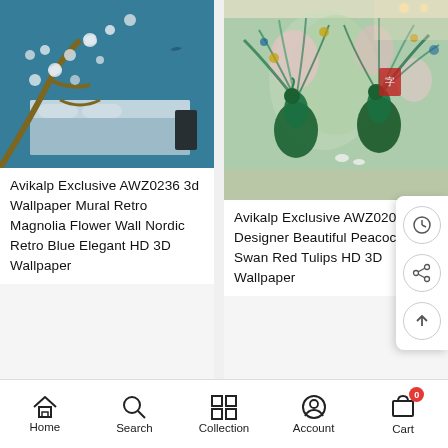[Figure (photo): Bedroom with blue floral wallpaper showing magnolia flowers and cherry blossom branches, elegant bed with grey/white bedding]
Avikalp Exclusive AWZ0236 3d Wallpaper Mural Retro Magnolia Flower Wall Nordic Retro Blue Elegant HD 3D Wallpaper
[Figure (photo): Room with jade-style peacock wallpaper showing two peacocks with colorful plumage, pink lotus flowers, and swans in jade/green tones]
Avikalp Exclusive AWZ020... Designer Beautiful Peacock With Swan Red Tulips HD 3D Wallpaper
Home   Search   Collection   Account   Cart